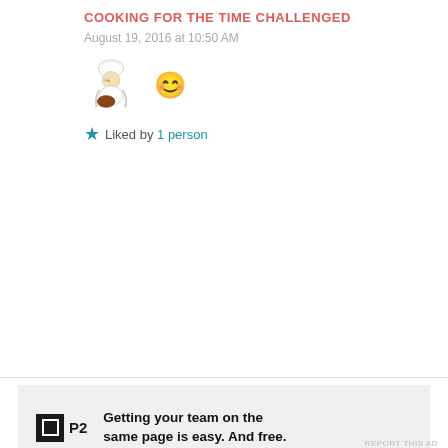COOKING FOR THE TIME CHALLENGED
August 19, 2016 at 10:50 AM
[Figure (illustration): Chef illustration and smiley emoji]
★ Liked by 1 person
[Figure (infographic): P2 advertisement banner: Getting your team on the same page is easy. And free.]
REPORT THIS AD
Privacy & Cookies: This site uses cookies. By continuing to use this website, you agree to their use.
To find out more, including how to control cookies, see here: Cookie Policy
Close and accept